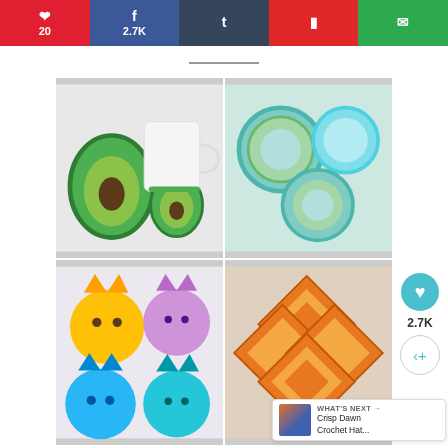Social share bar: Pinterest 20, Facebook 2.7K, Tumblr, Flipboard, Email
[Figure (photo): 2x2 grid of crochet coaster photos: avocado coasters with mug, blue/green circular coasters, cat face coasters in yellow/purple/blue/teal, diamond pattern orange coasters]
30+ Unique Crochet Coaster